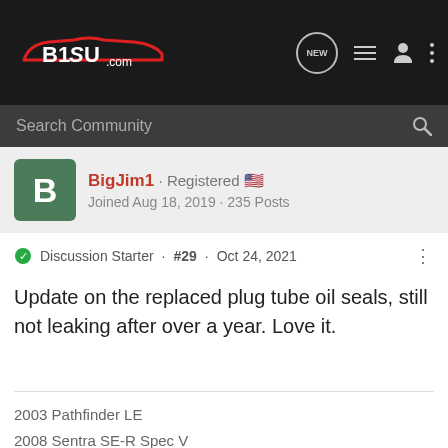[Figure (logo): B1SU.com logo in red and white on dark background navigation bar with icons]
Search Community
BigJim1 · Registered
Joined Aug 18, 2019 · 235 Posts
Discussion Starter · #29 · Oct 24, 2021
Update on the replaced plug tube oil seals, still not leaking after over a year. Love it.
2003 Pathfinder LE
2008 Sentra SE-R Spec V